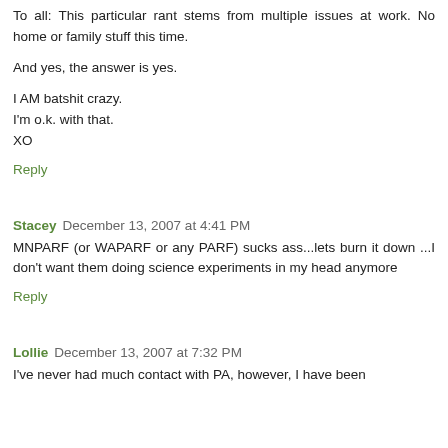To all: This particular rant stems from multiple issues at work. No home or family stuff this time.

And yes, the answer is yes.

I AM batshit crazy.
I'm o.k. with that.
XO
Reply
Stacey  December 13, 2007 at 4:41 PM
MNPARF (or WAPARF or any PARF) sucks ass...lets burn it down ...I don't want them doing science experiments in my head anymore
Reply
Lollie  December 13, 2007 at 7:32 PM
I've never had much contact with PA, however, I have been